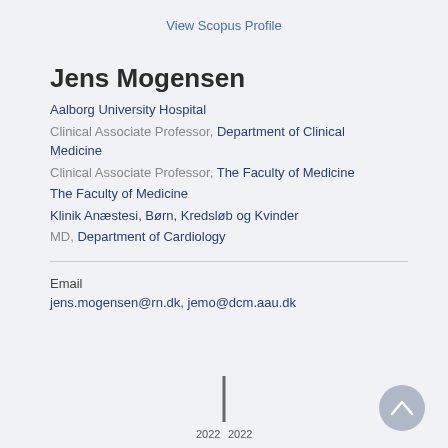View Scopus Profile
Jens Mogensen
Aalborg University Hospital
Clinical Associate Professor, Department of Clinical Medicine
Clinical Associate Professor, The Faculty of Medicine
The Faculty of Medicine
Klinik Anæstesi, Børn, Kredsløb og Kvinder
MD, Department of Cardiology
Email
jens.mogensen@rn.dk, jemo@dcm.aau.dk
[Figure (other): Timeline bar showing year 2022, with a vertical line marker. A scroll-to-top circular button is visible on the right.]